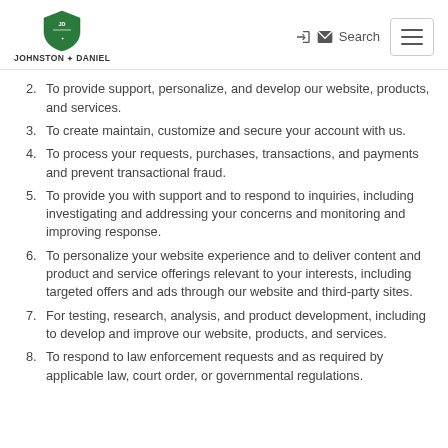Johnston Daniel logo | Search
2. To provide support, personalize, and develop our website, products, and services.
3. To create maintain, customize and secure your account with us.
4. To process your requests, purchases, transactions, and payments and prevent transactional fraud.
5. To provide you with support and to respond to inquiries, including investigating and addressing your concerns and monitoring and improving response.
6. To personalize your website experience and to deliver content and product and service offerings relevant to your interests, including targeted offers and ads through our website and third-party sites.
7. For testing, research, analysis, and product development, including to develop and improve our website, products, and services.
8. To respond to law enforcement requests and as required by applicable law, court order, or governmental regulations.